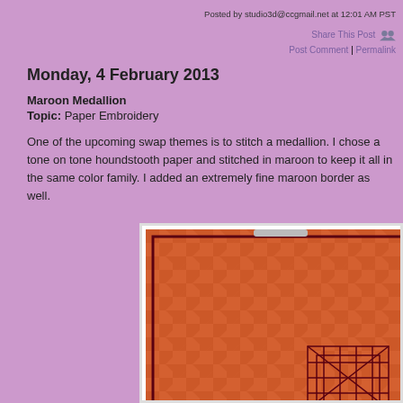Posted by studio3d@ccgmail.net at 12:01 AM PST
Share This Post | Post Comment | Permalink
Monday, 4 February 2013
Maroon Medallion
Topic: Paper Embroidery
One of the upcoming swap themes is to stitch a medallion. I chose a tone on tone houndstooth paper and stitched in maroon to keep it all in the same color family. I added an extremely fine maroon border as well.
[Figure (photo): Photo of a maroon medallion paper embroidery piece on orange/red houndstooth paper with dark maroon stitched border and geometric stitched design visible in lower right corner.]